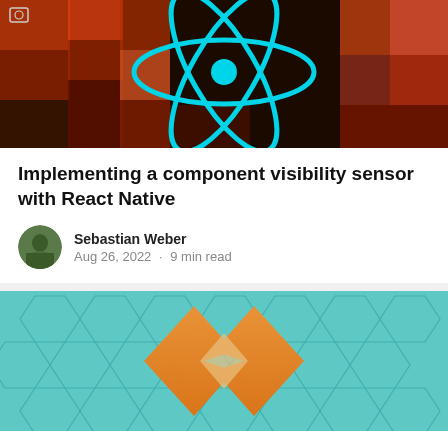[Figure (illustration): React Native banner image with cyan React logo (atom/orbital icon) on dark background with colorful collage]
Implementing a component visibility sensor with React Native
Sebastian Weber
Aug 26, 2022 · 9 min read
[Figure (illustration): Cloudflare Workers banner with orange Cloudflare logo on teal hexagonal tile background]
Create a URL shortener with Cloudflare Workers